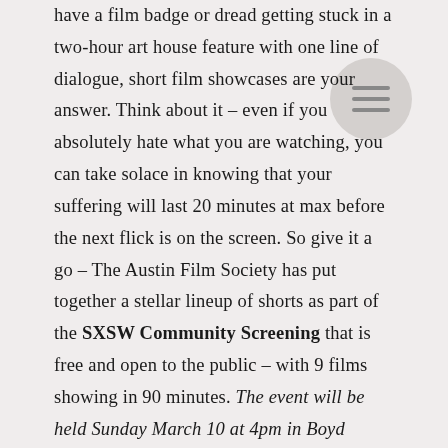have a film badge or dread getting stuck in a two-hour art house feature with one line of dialogue, short film showcases are your answer. Think about it – even if you absolutely hate what you are watching, you can take solace in knowing that your suffering will last 20 minutes at max before the next flick is on the screen. So give it a go – The Austin Film Society has put together a stellar lineup of shorts as part of the SXSW Community Screening that is free and open to the public – with 9 films showing in 90 minutes. The event will be held Sunday March 10 at 4pm in Boyd Vance Theater at the Carver Museum (arrive early!)
You can view a full synopsis of the films showing this year via Slackerwood. GSD&M Presents talked to the director of one of the shorts premiering this year, Brave Girl, on her